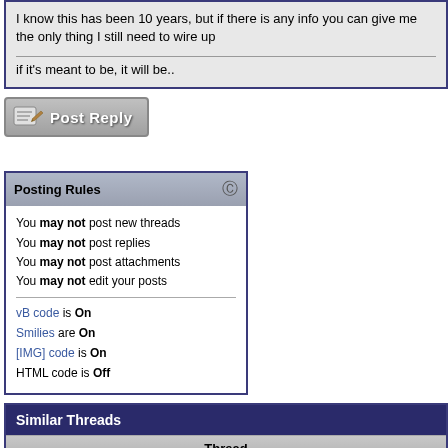I know this has been 10 years, but if there is any info you can give me the only thing I still need to wire up
if it's meant to be, it will be..
[Figure (other): Post Reply button with pencil/paper icon]
Posting Rules
You may not post new threads
You may not post replies
You may not post attachments
You may not edit your posts
vB code is On
Smilies are On
[IMG] code is On
HTML code is Off
Similar Threads
| Thread |
| --- |
| Steering woes continue, getting annoyed... |
| Noise coming from steering column? |